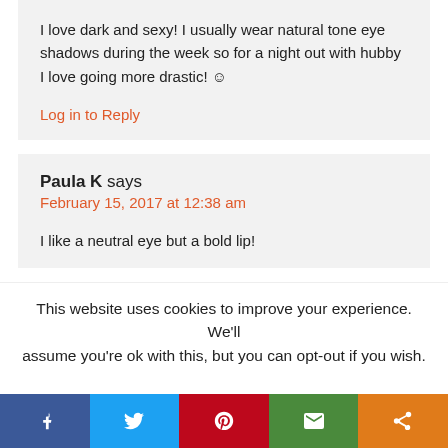I love dark and sexy! I usually wear natural tone eye shadows during the week so for a night out with hubby I love going more drastic! ☺
Log in to Reply
Paula K says
February 15, 2017 at 12:38 am
I like a neutral eye but a bold lip!
This website uses cookies to improve your experience. We'll assume you're ok with this, but you can opt-out if you wish.
[Figure (infographic): Social media share bar with Facebook, Twitter, Pinterest, Email, and Share buttons in colored blocks]